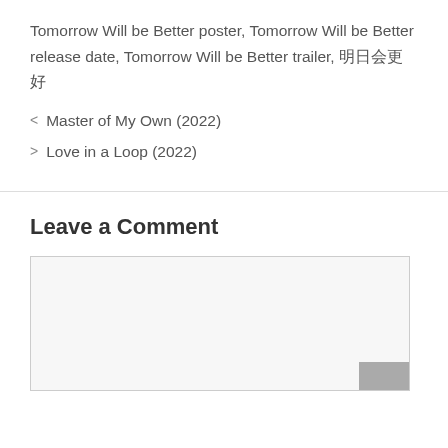Tomorrow Will be Better poster, Tomorrow Will be Better release date, Tomorrow Will be Better trailer, 明日会更好
< Master of My Own (2022)
> Love in a Loop (2022)
Leave a Comment